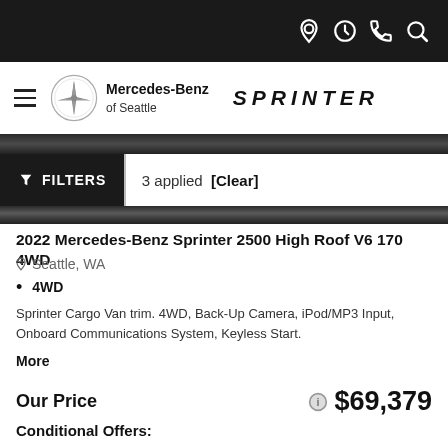Mercedes-Benz of Seattle — Sprinter (navigation bar with location, clock, phone, search icons)
FILTERS | 3 applied [Clear]
2022 Mercedes-Benz Sprinter 2500 High Roof V6 170 4WD
Seattle, WA
4WD
Sprinter Cargo Van trim. 4WD, Back-Up Camera, iPod/MP3 Input, Onboard Communications System, Keyless Start.
More
Our Price  $69,379
Conditional Offers: